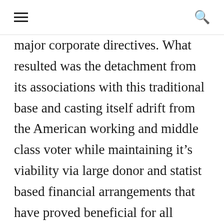≡  🔍
major corporate directives. What resulted was the detachment from its associations with this traditional base and casting itself adrift from the American working and middle class voter while maintaining it's viability via large donor and statist based financial arrangements that have proved beneficial for all parties involved until the cracks began developing of late. By having knowingly